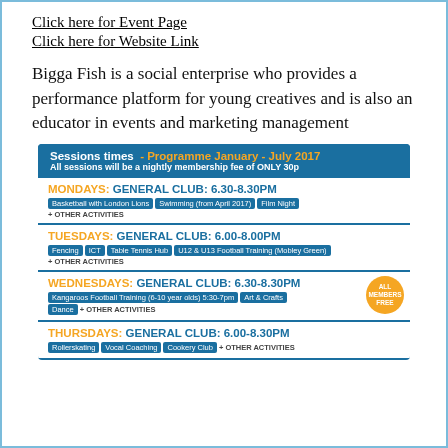Click here for Event Page
Click here for Website Link
Bigga Fish is a social enterprise who provides a performance platform for young creatives and is also an educator in events and marketing management
[Figure (infographic): Sessions times infographic - Programme January - July 2017. All sessions will be a nightly membership fee of ONLY 30p. Four day blocks: Mondays General Club 6.30-8.30pm (Basketball with London Lions, Swimming (from April 2017), Film Night, + Other Activities), Tuesdays General Club 6.00-8.00pm (Fencing, ICT, Table Tennis Hub, U12 & U13 Football Training (Mobley Green), + Other Activities), Wednesdays General Club 6.30-8.30pm (Kangaroos Football Training (6-10 year olds) 5:30-7pm, Art & Crafts, Dance, + Other Activities, ALL MEMBERS FREE badge), Thursdays General Club 6.00-8.30pm (Rollerskating, Vocal Coaching, Cookery Club, + Other Activities)]